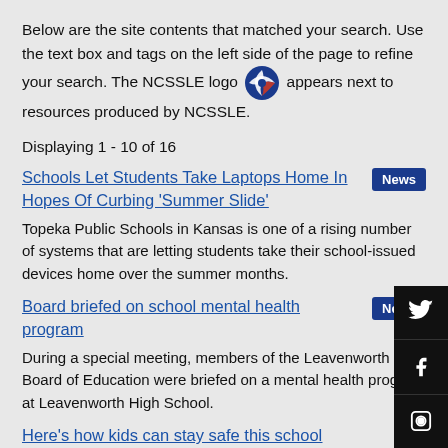Below are the site contents that matched your search. Use the text box and tags on the left side of the page to refine your search. The NCSSLE logo [logo] appears next to resources produced by NCSSLE.
Displaying 1 - 10 of 16
Schools Let Students Take Laptops Home In Hopes Of Curbing 'Summer Slide' [News] — Topeka Public Schools in Kansas is one of a rising number of systems that are letting students take their school-issued devices home over the summer months.
Board briefed on school mental health program [News] — During a special meeting, members of the Leavenworth Board of Education were briefed on a mental health program at Leavenworth High School.
Here's how kids can stay safe this school...